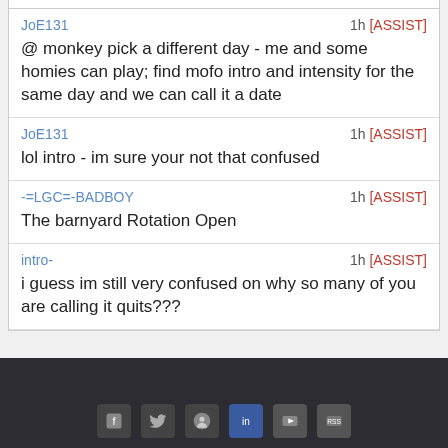JoE131 — 1h [ASSIST]
@ monkey pick a different day - me and some homies can play; find mofo intro and intensity for the same day and we can call it a date
JoE131 — 1h [ASSIST]
lol intro - im sure your not that confused
-=LGC=-BADBOY — 1h [ASSIST]
The barnyard Rotation Open
intro- — 1h [ASSIST]
i guess im still very confused on why so many of you are calling it quits???
-[LGC]-BURRITOS — 2h [ASSIST]
Please Login To Use Shoutbox.